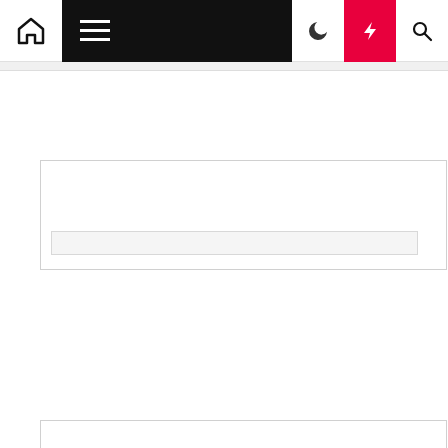Navigation bar with home icon, hamburger menu, moon icon, bolt/flash icon, search icon
[Figure (screenshot): Advertisement placeholder box with a light grey bar at the bottom]
buybacklinks
Visit Now
Example
BL